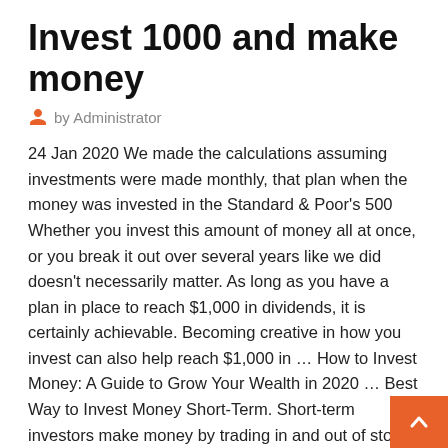Invest 1000 and make money
by Administrator
24 Jan 2020 We made the calculations assuming investments were made monthly, that plan when the money was invested in the Standard & Poor's 500 Whether you invest this amount of money all at once, or you break it out over several years like we did doesn't necessarily matter. As long as you have a plan in place to reach $1,000 in dividends, it is certainly achievable. Becoming creative in how you invest can also help reach $1,000 in … How to Invest Money: A Guide to Grow Your Wealth in 2020 … Best Way to Invest Money Short-Term. Short-term investors make money by trading in and out of stocks over a short period of time rather than buying and holding them for several years. While you certainly can make money doing this, the problem is that no matter how skilled at trading you become, there will always